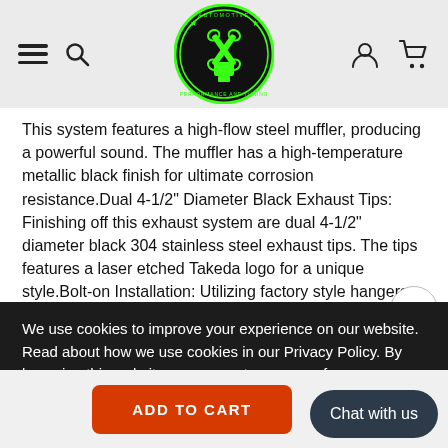[Figure (logo): Automotive Performance and Tuning circular logo with green wrench/piston graphic on black background]
This system features a high-flow steel muffler, producing a powerful sound. The muffler has a high-temperature metallic black finish for ultimate corrosion resistance.Dual 4-1/2" Diameter Black Exhaust Tips: Finishing off this exhaust system are dual 4-1/2" diameter black 304 stainless steel exhaust tips. The tips features a laser etched Takeda logo for a unique style.Bolt-on Installation: Utilizing factory style hangers, this is a direct bolt-on system that requires no cutting or modifications for a hassle-free installation.Factory-Style Exhaust Valve: The factory-style exhaust valve provides a true bi-modal experience. In normal mode, all of the exhaust
We use cookies to improve your experience on our website. Read about how we use cookies in our Privacy Policy. By browsing this website, you agree to our use of cookies.  Privacy Policy
ACCEPT
the factory valve motor (not included) Integrated Mitered Merge Collector: A mitered merge collector is used to decrease turbulence and increase exhaust velocity, resulting in increased horsepower, torque
ADD TO CART
Chat with us